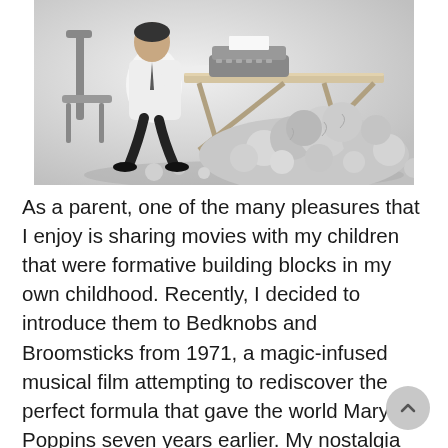[Figure (photo): Black and white photo of a man in a white shirt sitting at a desk typing on a typewriter, with a huge pile of crumpled paper surrounding the desk]
As a parent, one of the many pleasures that I enjoy is sharing movies with my children that were formative building blocks in my own childhood. Recently, I decided to introduce them to Bedknobs and Broomsticks from 1971, a magic-infused musical film attempting to rediscover the perfect formula that gave the world Mary Poppins seven years earlier. My nostalgia quivered as the introductory music played and I settled in for a welcome trip down memory lane. Imagine my